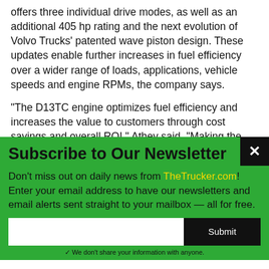offers three individual drive modes, as well as an additional 405 hp rating and the next evolution of Volvo Trucks' patented wave piston design. These updates enable further increases in fuel efficiency over a wider range of loads, applications, vehicle speeds and engine RPMs, the company says.
“The D13TC engine optimizes fuel efficiency and increases the value to customers through cost savings and overall ROI,” Athey said. “Making the engine standard was the next logical step, in addition to offering customizable fuel economy
Subscribe to Our Newsletter
Don't miss out on daily news from TheTrucker.com! Enter your email address to have our newsletters and email alerts sent straight to your mailbox — all for free.
✓ We don’t share your information with anyone.